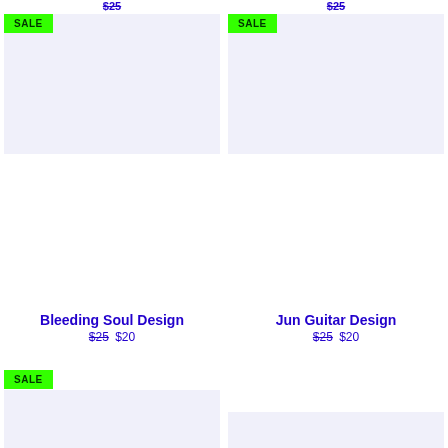$25
$25
SALE
[Figure (illustration): Product image placeholder with light lavender background]
SALE
[Figure (illustration): Product image placeholder with light lavender background]
Bleeding Soul Design
$25 $20
Jun Guitar Design
$25 $20
SALE
[Figure (illustration): Product image placeholder with light lavender background]
[Figure (illustration): Product image placeholder with light lavender background]